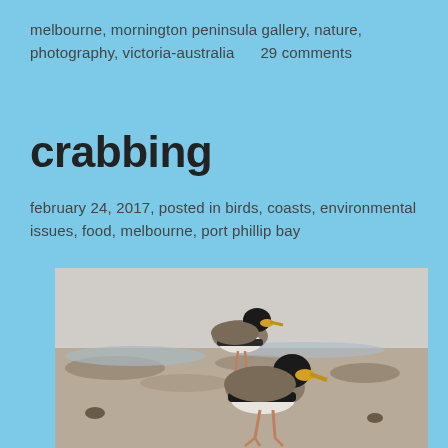melbourne, mornington peninsula gallery, nature, photography, victoria-australia    29 comments
crabbing
february 24, 2017, posted in birds, coasts, environmental issues, food, melbourne, port phillip bay
[Figure (photo): Two masked lapwing birds (plovers) standing on a muddy tidal flat shoreline. The birds have brown and white plumage with distinctive yellow facial wattles and black caps. They appear to be foraging on the wet sandy/muddy shore.]